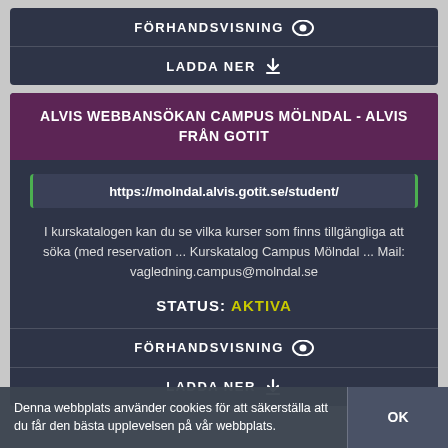FÖRHANDSVISNING
LADDA NER
ALVIS WEBBANSÖKAN CAMPUS MÖLNDAL - ALVIS FRÅN GOTIT
https://molndal.alvis.gotit.se/student/
I kurskatalogen kan du se vilka kurser som finns tillgängliga att söka (med reservation ... Kurskatalog Campus Mölndal ... Mail: vagledning.campus@molndal.se
STATUS: AKTIVA
FÖRHANDSVISNING
LADDA NER
Denna webbplats använder cookies för att säkerställa att du får den bästa upplevelsen på vår webbplats.